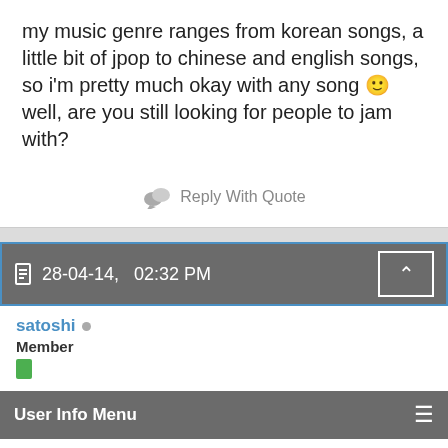my music genre ranges from korean songs, a little bit of jpop to chinese and english songs, so i'm pretty much okay with any song 🙂 well, are you still looking for people to jam with?
Reply With Quote
28-04-14,   02:32 PM
satoshi ○ Member
User Info Menu
Re: Looking for casual novic peepz